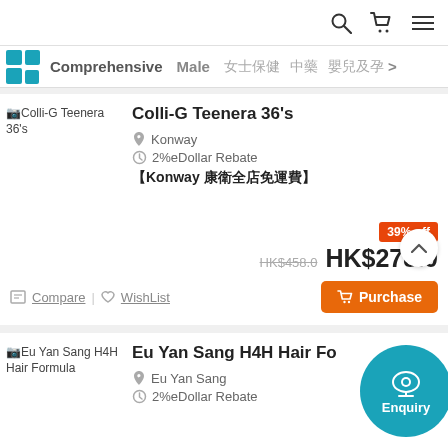Search | Cart | Menu icons
Comprehensive | Male | 女士保健 | 中藥 | 嬰兒及孕> (navigation bar)
[Figure (screenshot): Product image placeholder for Colli-G Teenera 36's]
Colli-G Teenera 36's
Konway
2%eDollar Rebate
【Konway 康衛全店免運費】
39% off
HK$458.0  HK$278.0
Compare | WishList | Purchase
[Figure (screenshot): Product image placeholder for Eu Yan Sang H4H Hair Formula]
Eu Yan Sang H4H Hair Fo...
Eu Yan Sang
2%eDollar Rebate